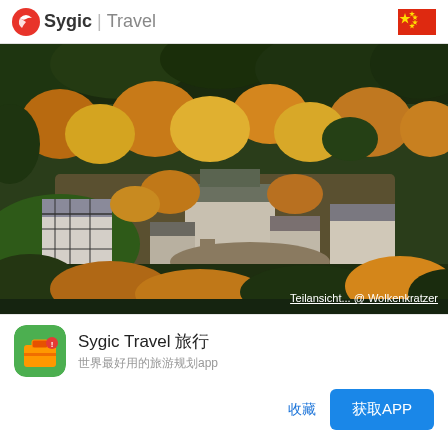Sygic | Travel
[Figure (photo): Aerial view of a rural village surrounded by autumn-colored forests with a mix of green, yellow, and orange trees. Traditional half-timbered buildings visible in clearing. Photo credit: Teilansicht... @ Wolkenkratzer]
Sygic Travel 旅行
世界最好用的旅游规划app
收藏 | 获取APP